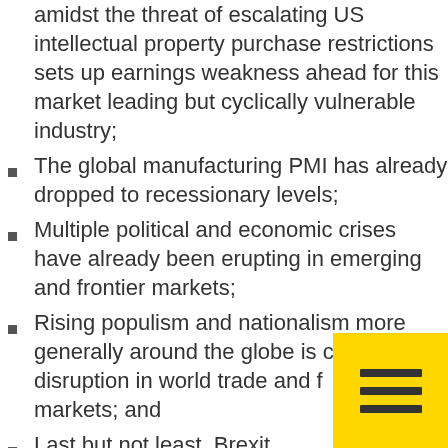amidst the threat of escalating US intellectual property purchase restrictions sets up earnings weakness ahead for this market leading but cyclically vulnerable industry;
The global manufacturing PMI has already dropped to recessionary levels;
Multiple political and economic crises have already been erupting in emerging and frontier markets;
Rising populism and nationalism more generally around the globe is causing disruption in world trade and financial markets; and
Last but not least, Brexit.